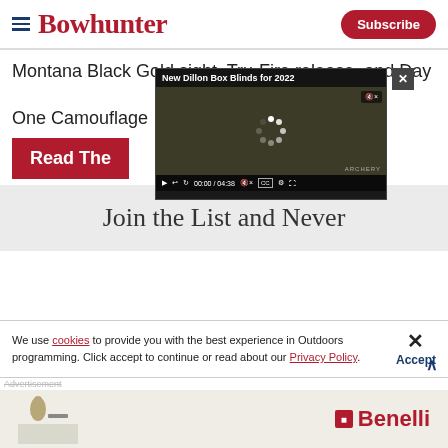Bowhunter | Subscribe
Montana Black Gold sight, Tru-Fire release, and Day One Camouflage
[Figure (screenshot): Video player overlay showing 'New Dillon Box Blinds for 2022' with playback controls showing 00:00 / 04:38, mute button, CC, settings, and fullscreen. A close button (x) appears in the top right corner.]
Read The
Join the List and Never
We use cookies to provide you with the best experience in Outdoors programming. Click accept to continue or read about our Privacy Policy.
Advertisement
[Figure (photo): Benelli advertisement banner with a hunter silhouette on the left and the Benelli logo on the right]